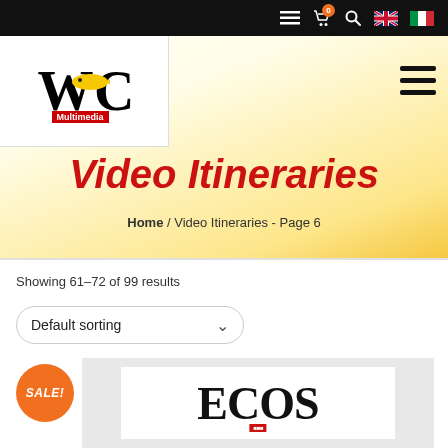Navigation bar with icons: hamburger menu, cart, search, English flag, Italian flag
[Figure (logo): WOC Multimedia logo with large serif W O C letters and a yellow fish, red Multimedia label]
Video Itineraries
Home / Video Itineraries - Page 6
Showing 61–72 of 99 results
Default sorting
[Figure (screenshot): Product image showing ECOS logo on light gray background with SALE! badge]